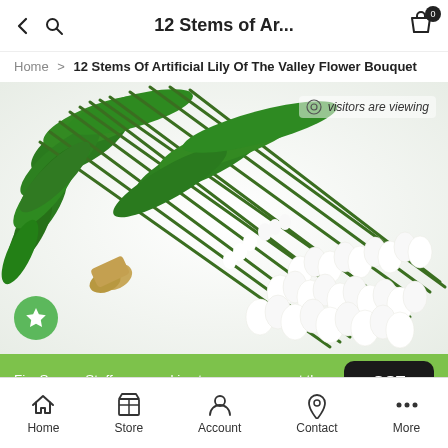← 🔍  12 Stems of Ar...  🛍 0
Home > 12 Stems Of Artificial Lily Of The Valley Flower Bouquet
[Figure (photo): A bouquet of artificial lily of the valley flowers with white bell-shaped blooms and green leaves and stems, tied together, on a white background. A green circle with a star (favorite) icon is visible at the bottom left of the image.]
👁 visitors are viewing
FiveSeasonStuff uses cookies to ensure you get the best experience on our website. Learn more
GOT IT!
Home  Store  Account  Contact  More